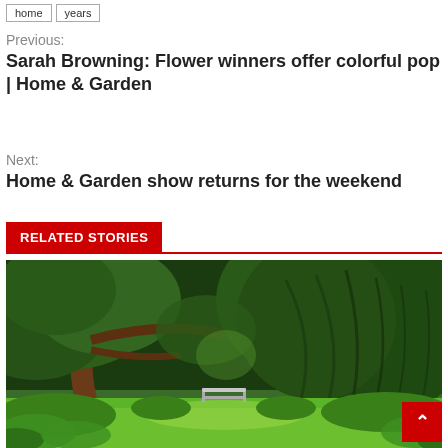home
years
Previous:
Sarah Browning: Flower winners offer colorful pop | Home & Garden
Next:
Home & Garden show returns for the weekend
RELATED STORIES
[Figure (photo): A lush garden scene with large trees including a weeping tree backdrop, green lawn, and a white bench in the middle distance surrounded by shrubs and ferns.]